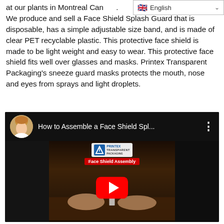at our plants in Montreal Can... We produce and sell a Face Shield Splash Guard that is disposable, has a simple adjustable size band, and is made of clear PET recyclable plastic. This protective face shield is made to be light weight and easy to wear. This protective face shield fits well over glasses and masks. Printex Transparent Packaging's sneeze guard masks protects the mouth, nose and eyes from sprays and light droplets.
[Figure (screenshot): YouTube video thumbnail showing 'How to Assemble a Face Shield Spl...' with a female presenter's avatar, Printex Transparent Packaging logo, 'Face Shield Assembly' red badge, and a YouTube play button overlay. The video shows hands assembling a face shield on a dark wooden background.]